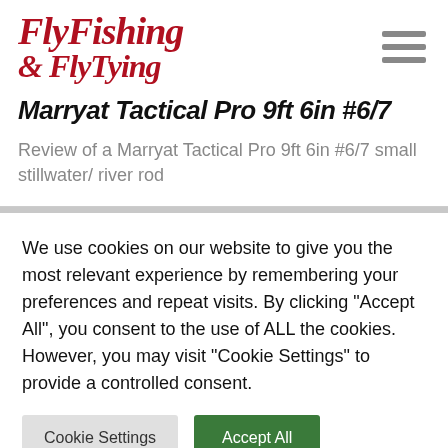[Figure (logo): Fly Fishing & Fly Tying magazine logo in dark red italic serif font]
Marryat Tactical Pro 9ft 6in #6/7
Review of a Marryat Tactical Pro 9ft 6in #6/7 small stillwater/ river rod
We use cookies on our website to give you the most relevant experience by remembering your preferences and repeat visits. By clicking "Accept All", you consent to the use of ALL the cookies. However, you may visit "Cookie Settings" to provide a controlled consent.